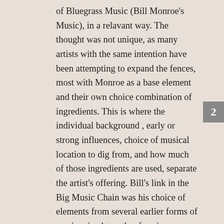of Bluegrass Music (Bill Monroe's Music), in a relavant way. The thought was not unique, as many artists with the same intention have been attempting to expand the fences, most with Monroe as a base element and their own choice combination of ingredients. This is where the individual background , early or strong influences, choice of musical location to dig from, and how much of those ingredients are used, separate the artist's offering. Bill's link in the Big Music Chain was his choice of elements from several earlier forms of music mixed together forming a new entity, folk music with overdrive. If and when BlueGrass Music (Bill Monroe's Music) can be evolved in a relavant way, it will be through earthy , well rooted elements and will strike a nerve and be accepted and recognized greatly by Traditional Music appreciators. In my mind, if you attempt to relavantly evolve Bluegrass music, you don't start with Bill Monroe , you go a generation prior and absorb the music's that The Father of Bluegrass listened
2